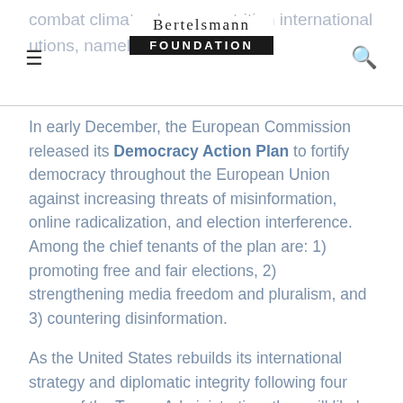Bertelsmann Foundation
In early December, the European Commission released its Democracy Action Plan to fortify democracy throughout the European Union against increasing threats of misinformation, online radicalization, and election interference. Among the chief tenants of the plan are: 1) promoting free and fair elections, 2) strengthening media freedom and pluralism, and 3) countering disinformation.
As the United States rebuilds its international strategy and diplomatic integrity following four years of the Trump Administration, they will likely face a European Union also undergoing a revitalization and transformation. Both seek to unify their citizens, combat climate change, and forge a cohesive digital path forward that enhances economies, while protecting citizens. As China's influence continues